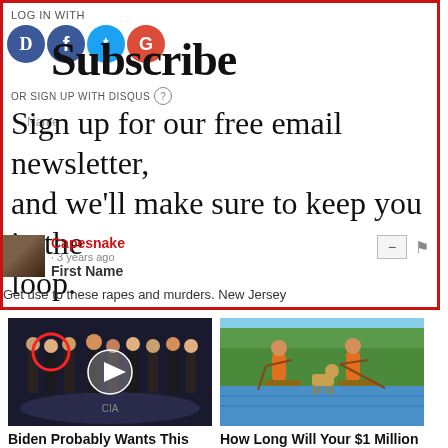LOG IN WITH
Subscribe
OR SIGN UP WITH DISQUS ?
Sign up for our free email newsletter, and we'll make sure to keep you in the loop.
Name
Capesnake
3 years ago
First Name
Get use to these rapes and murders. New Jersey
Promoted X
[Figure (photo): Video thumbnail of people in suits at CIA headquarters with a red circle highlighting one person and a play button overlay]
Biden Probably Wants This Video Destroyed — Massive Currency Upheaval Has Started
249,879
[Figure (illustration): Illustration of two people paddleboarding on water with a dog]
How Long Will Your $1 Million Last In Retirement?
1,024